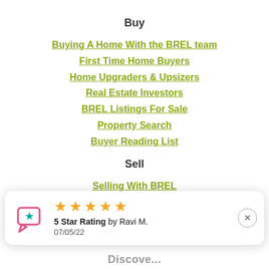Buy
Buying A Home With the BREL team
First Time Home Buyers
Home Upgraders & Upsizers
Real Estate Investors
BREL Listings For Sale
Property Search
Buyer Reading List
Sell
Selling With BREL
Home Seller Guide
[Figure (other): Review overlay widget showing 5 star rating by Ravi M. dated 07/05/22 with a chat bubble icon and close button]
Discove...